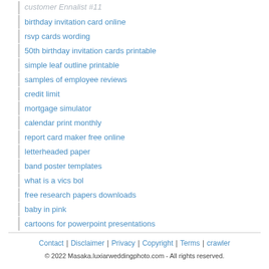birthday invitation card online
rsvp cards wording
50th birthday invitation cards printable
simple leaf outline printable
samples of employee reviews
credit limit
mortgage simulator
calendar print monthly
report card maker free online
letterheaded paper
band poster templates
what is a vics bol
free research papers downloads
baby in pink
cartoons for powerpoint presentations
Contact | Disclaimer | Privacy | Copyright | Terms | crawler
© 2022 Masaka.luxiarweddingphoto.com - All rights reserved.